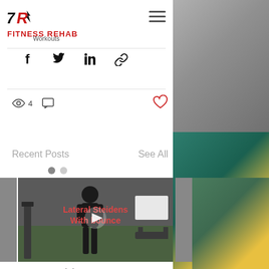[Figure (logo): Fitness Rehab logo with stylized 7R icon in black and red brand name text]
Workouts
[Figure (infographic): Share icons row: Facebook, Twitter, LinkedIn, Link/chain icon]
[Figure (infographic): Stats row: eye icon with 4 views, comment bubble icon, heart like button in red]
Recent Posts
See All
[Figure (screenshot): Video thumbnail showing a person exercising in a gym, with red overlay text 'Lateral Steidens With bounce' and a play button]
High Vs Low Days